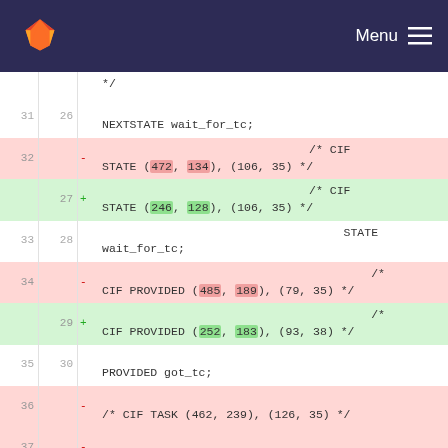[Figure (screenshot): GitLab navigation bar with fox logo and Menu hamburger icon on dark purple background]
| old_line | new_line | op | code |
| --- | --- | --- | --- |
|  |  |  | */ |
| 31 | 26 |  | NEXTSTATE wait_for_tc; |
| 32 |  | - | /* CIF STATE (472, 134), (106, 35) */ |
|  | 27 | + | /* CIF STATE (246, 128), (106, 35) */ |
| 33 | 28 |  | STATE wait_for_tc; |
| 34 |  | - | /* CIF PROVIDED (485, 189), (79, 35) */ |
|  | 29 | + | /* CIF PROVIDED (252, 183), (93, 38) */ |
| 35 | 30 |  | PROVIDED got_tc; |
| 36 |  | - | /* CIF TASK (462, 239), (126, 35) */ |
| 37 |  | - | TASK got_tc := false; |
| 38 |  | - |  |